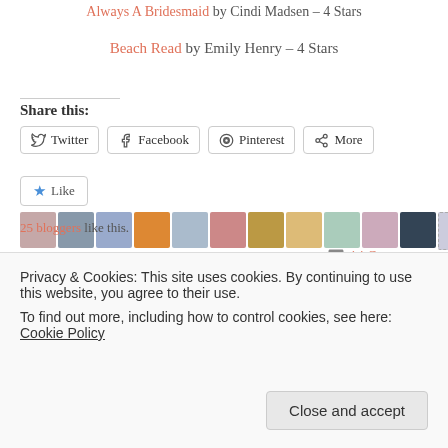Always A Bridesmaid by Cindi Madsen – 4 Stars
Beach Read by Emily Henry – 4 Stars
Share this:
Twitter | Facebook | Pinterest | More
Like | 25 bloggers like this.
Always a Bridesmaid, Anything You Can Do, Beach Read, Boyfriend Bargain, Boys of Brayshaw High, Cinder & Ella, Cindi Madsen, Cookie O'Gorman, Dear,
14 Comments
Privacy & Cookies: This site uses cookies. By continuing to use this website, you agree to their use.
To find out more, including how to control cookies, see here: Cookie Policy
Close and accept